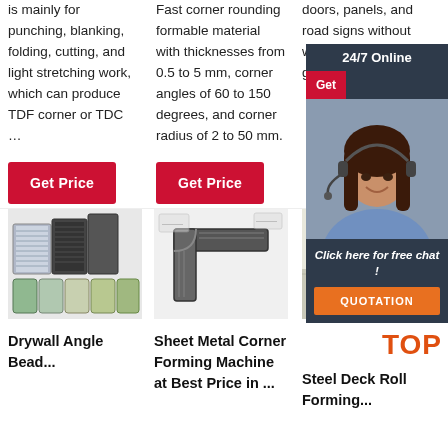is mainly for punching, blanking, folding, cutting, and light stretching work, which can produce TDF corner or TDC …
Fast corner rounding formable material with thicknesses from 0.5 to 5 mm, corner angles of 60 to 150 degrees, and corner radius of 2 to 50 mm.
doors, panels, and road signs without welding corners or grinding them.
[Figure (photo): Customer service representative with headset, chat widget overlay with '24/7 Online' header, 'Get Price' button, 'Click here for free chat!' text and orange QUOTATION button]
Get Price
Get Price
Get Price
[Figure (photo): Collection of air filter panels and bags in various sizes and colors]
[Figure (photo): Sheet metal corner forming machine part showing L-shaped metal profile]
[Figure (photo): Paint cans and materials for steel deck roll forming, with orange TOP label]
Drywall Angle Bead...
Sheet Metal Corner Forming Machine at Best Price in ...
Steel Deck Roll Forming...